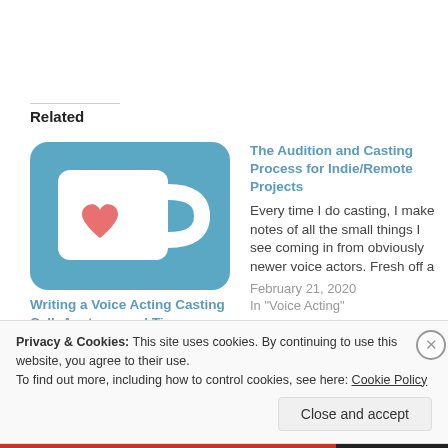Related
[Figure (illustration): A blue coffee mug icon with a white heart shape on it, styled as a Ko-fi style logo]
Writing a Voice Acting Casting Call: Anatomy and Tips
November 9, 2018
In "Casting Calls"
The Audition and Casting Process for Indie/Remote Projects
Every time I do casting, I make notes of all the small things I see coming in from obviously newer voice actors. Fresh off a
February 21, 2020
In "Voice Acting"
Privacy & Cookies: This site uses cookies. By continuing to use this website, you agree to their use.
To find out more, including how to control cookies, see here: Cookie Policy
Close and accept